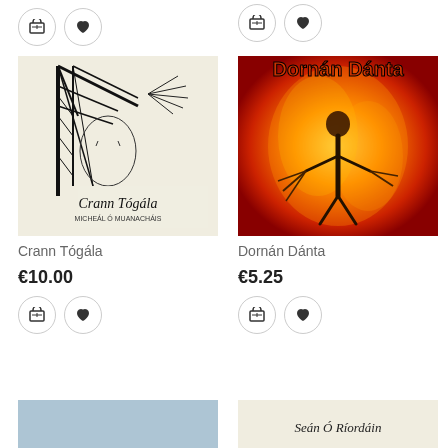[Figure (other): Cart and heart circle buttons (top left, previous product)]
[Figure (other): Cart and heart circle buttons (top right, previous product)]
[Figure (illustration): Album cover for Crann Tógála – black and white illustration of a crane/tower structure with text 'Crann Tógála' and subtitle 'Micheál Ó Muanacháis']
Crann Tógála
€10.00
[Figure (other): Cart and heart circle buttons for Crann Tógála]
[Figure (illustration): Album cover for Dornán Dánta – fiery orange/red background with figure and bold text 'Dornán Dánta']
Dornán Dánta
€5.25
[Figure (other): Cart and heart circle buttons for Dornán Dánta]
[Figure (photo): Bottom-left partially visible album cover (blue/grey tones)]
[Figure (illustration): Bottom-right partially visible album cover with text 'Seán Ó Ríordán']